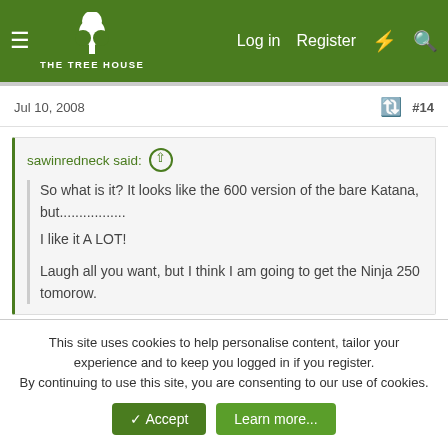The Tree House — Log in | Register
Jul 10, 2008  #14
sawinredneck said: ↑
So what is it? It looks like the 600 version of the bare Katana, but.................
I like it A LOT!
Laugh all you want, but I think I am going to get the Ninja 250 tomorow.
you going to need more bike than that. they don't work so well with big guys like me or you on them. 😁
This site uses cookies to help personalise content, tailor your experience and to keep you logged in if you register.
By continuing to use this site, you are consenting to our use of cookies.